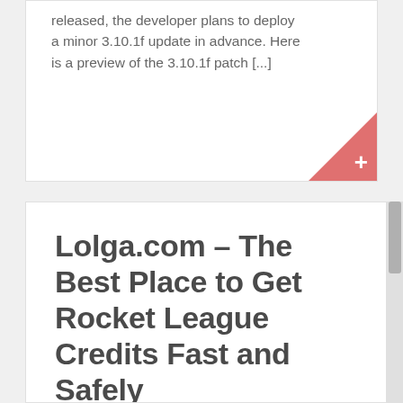released, the developer plans to deploy a minor 3.10.1f update in advance. Here is a preview of the 3.10.1f patch [...]
Lolga.com – The Best Place to Get Rocket League Credits Fast and Safely
April 22, 2020 / Rocket League / Lolga.com, RL Items and Blueprints, Rocket League Credits
Credits are the new in-game currency replacing Keys. They can be used to purchase Featured Items in the Item Shop, upgrade your Rocket Pass, build items